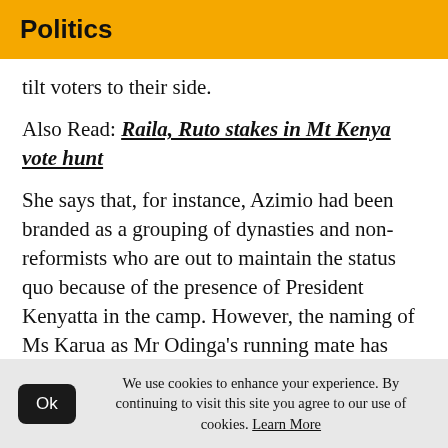Politics
tilt voters to their side.
Also Read: Raila, Ruto stakes in Mt Kenya vote hunt
She says that, for instance, Azimio had been branded as a grouping of dynasties and non-reformists who are out to maintain the status quo because of the presence of President Kenyatta in the camp. However, the naming of Ms Karua as Mr Odinga's running mate has brought with it a fresh perspective owing to
We use cookies to enhance your experience. By continuing to visit this site you agree to our use of cookies. Learn More